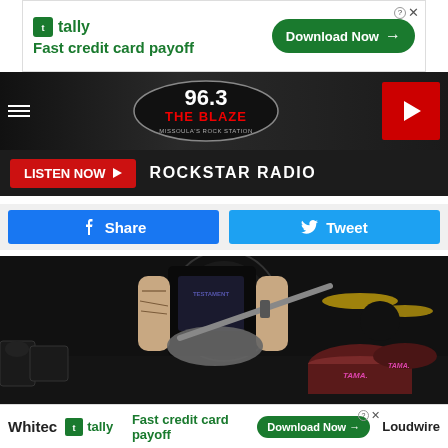[Figure (screenshot): Tally advertisement banner — Fast credit card payoff — Download Now button]
[Figure (logo): 96.3 The Blaze — Missoula's Rock Station radio station logo in oval with navigation bar]
LISTEN NOW  ROCKSTAR RADIO
Share  Tweet
[Figure (photo): Concert photo of a tattooed guitarist wearing a Testament shirt playing a gray electric guitar on stage, with a drummer behind a Tama drum kit visible in the background]
[Figure (screenshot): Tally advertisement banner — Fast credit card payoff — Download Now button — Loudwire branding]
Whitec